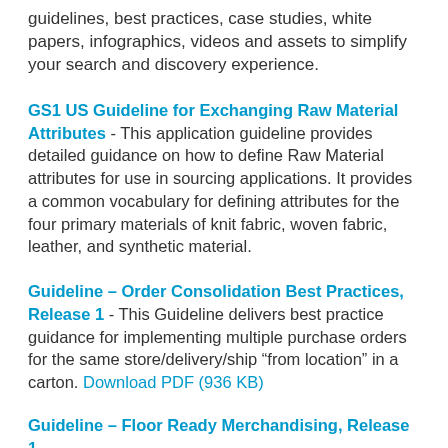guidelines, best practices, case studies, white papers, infographics, videos and assets to simplify your search and discovery experience.
GS1 US Guideline for Exchanging Raw Material Attributes - This application guideline provides detailed guidance on how to define Raw Material attributes for use in sourcing applications. It provides a common vocabulary for defining attributes for the four primary materials of knit fabric, woven fabric, leather, and synthetic material.
Guideline – Order Consolidation Best Practices, Release 1 - This Guideline delivers best practice guidance for implementing multiple purchase orders for the same store/delivery/ship "from location" in a carton. Download PDF (936 KB)
Guideline – Floor Ready Merchandising, Release 1...